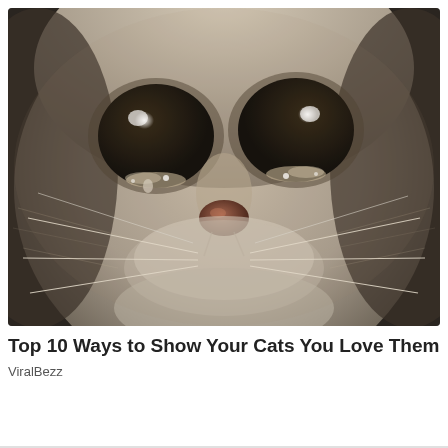[Figure (photo): Close-up photograph of a cat's face with large dark eyes that appear to have tears or moisture around them, a small brown nose, white whiskers, and grayish-beige fur. The cat has a sad, emotional expression.]
Top 10 Ways to Show Your Cats You Love Them
ViralBezz